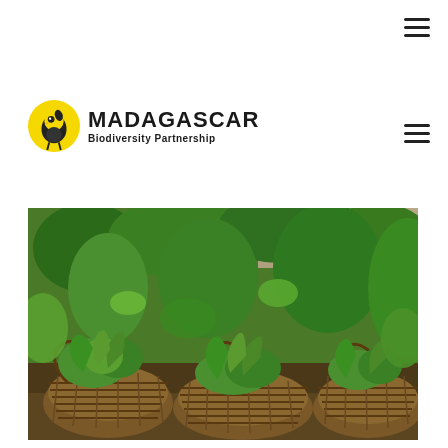≡ (hamburger menu icon top right)
[Figure (logo): Madagascar Biodiversity Partnership logo: yellow and black bird/lemur circular icon with text MADAGASCAR in bold black and Biodiversity Partnership below]
≡ (hamburger menu icon mid right)
[Figure (photo): Photograph of green plant seedlings growing in woven basket containers made of natural fiber/rope netting, arranged on the ground outdoors, with lush green tropical foliage visible]